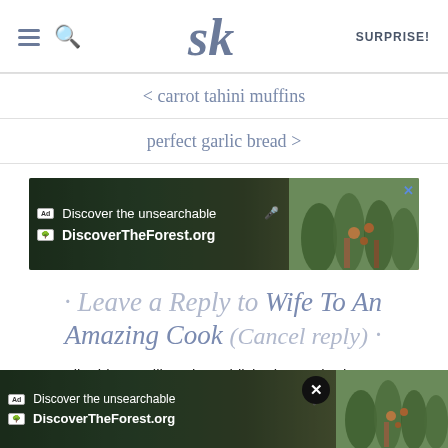SK — SURPRISE!
< carrot tahini muffins
perfect garlic bread >
[Figure (screenshot): Advertisement banner for DiscoverTheForest.org showing hikers in a forest with text 'Discover the unsearchable' and 'DiscoverTheForest.org']
Leave a Reply to Wife To An Amazing Cook (Cancel reply)
Your email address will not be published. Required fields a
[Figure (screenshot): Second advertisement banner for DiscoverTheForest.org overlaid at bottom of page, with close button]